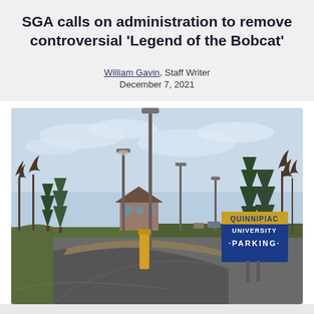SGA calls on administration to remove controversial 'Legend of the Bobcat'
William Gavin, Staff Writer
December 7, 2021
[Figure (photo): Outdoor photograph of Quinnipiac University parking lot entrance. Shows a road curving left with a yellow bollard, street lamps, bare trees, evergreen trees, a small building in the background, blue sky with light clouds, and a blue and gold Quinnipiac University Parking sign on the right side.]